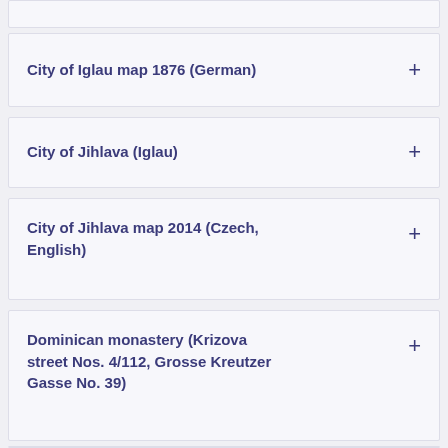City of Iglau map 1876 (German)
City of Jihlava (Iglau)
City of Jihlava map 2014 (Czech, English)
Dominican monastery (Krizova street Nos. 4/112, Grosse Kreutzer Gasse No. 39)